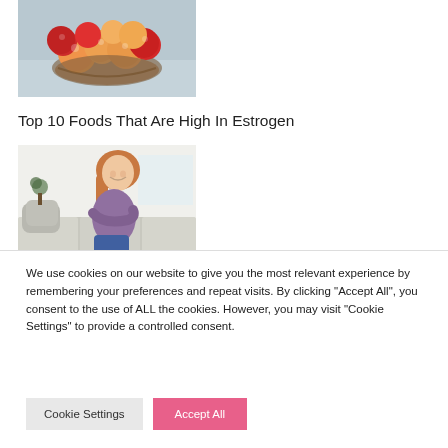[Figure (photo): Overhead view of a basket filled with peaches and apples on a light blue wooden surface]
Top 10 Foods That Are High In Estrogen
[Figure (photo): Woman sitting on a couch holding her stomach in pain, appearing to have abdominal discomfort]
We use cookies on our website to give you the most relevant experience by remembering your preferences and repeat visits. By clicking "Accept All", you consent to the use of ALL the cookies. However, you may visit "Cookie Settings" to provide a controlled consent.
Cookie Settings
Accept All